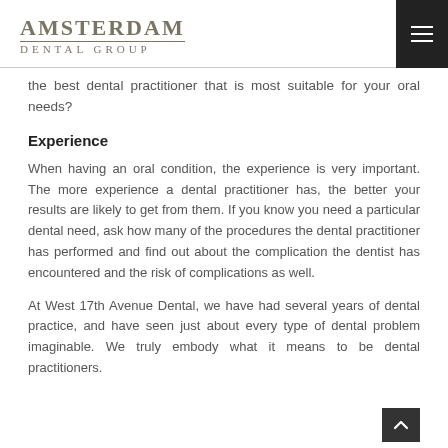Amsterdam Dental Group
the best dental practitioner that is most suitable for your oral needs?
Experience
When having an oral condition, the experience is very important. The more experience a dental practitioner has, the better your results are likely to get from them. If you know you need a particular dental need, ask how many of the procedures the dental practitioner has performed and find out about the complication the dentist has encountered and the risk of complications as well.
At West 17th Avenue Dental, we have had several years of dental practice, and have seen just about every type of dental problem imaginable. We truly embody what it means to be dental practitioners.